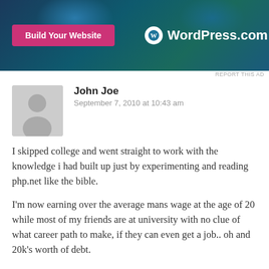[Figure (screenshot): WordPress.com advertisement banner with 'Build Your Website' button on dark blue/teal background with WordPress logo]
REPORT THIS AD
John Joe
September 7, 2010 at 10:43 am
I skipped college and went straight to work with the knowledge i had built up just by experimenting and reading php.net like the bible.

I'm now earning over the average mans wage at the age of 20 while most of my friends are at university with no clue of what career path to make, if they can even get a job.. oh and 20k's worth of debt.